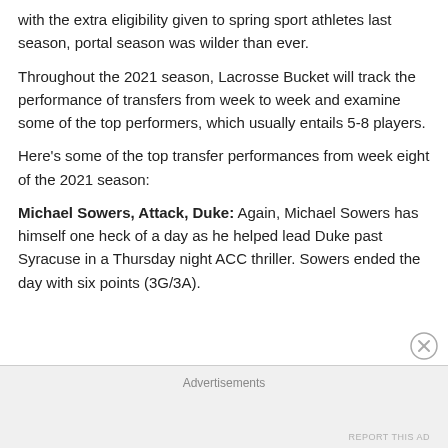with the extra eligibility given to spring sport athletes last season, portal season was wilder than ever.
Throughout the 2021 season, Lacrosse Bucket will track the performance of transfers from week to week and examine some of the top performers, which usually entails 5-8 players.
Here's some of the top transfer performances from week eight of the 2021 season:
Michael Sowers, Attack, Duke: Again, Michael Sowers has himself one heck of a day as he helped lead Duke past Syracuse in a Thursday night ACC thriller. Sowers ended the day with six points (3G/3A).
Advertisements